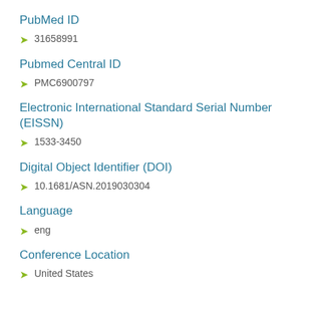PubMed ID
31658991
Pubmed Central ID
PMC6900797
Electronic International Standard Serial Number (EISSN)
1533-3450
Digital Object Identifier (DOI)
10.1681/ASN.2019030304
Language
eng
Conference Location
United States